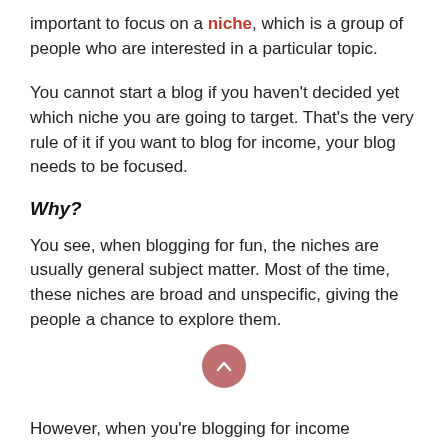important to focus on a niche, which is a group of people who are interested in a particular topic.
You cannot start a blog if you haven't decided yet which niche you are going to target. That's the very rule of it if you want to blog for income, your blog needs to be focused.
Why?
You see, when blogging for fun, the niches are usually general subject matter. Most of the time, these niches are broad and unspecific, giving the people a chance to explore them.
However, when you're blogging for income